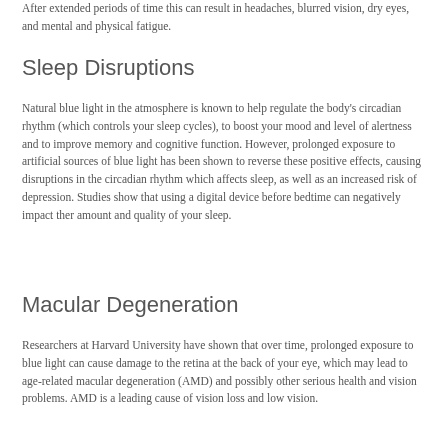After extended periods of time this can result in headaches, blurred vision, dry eyes, and mental and physical fatigue.
Sleep Disruptions
Natural blue light in the atmosphere is known to help regulate the body's circadian rhythm (which controls your sleep cycles), to boost your mood and level of alertness and to improve memory and cognitive function. However, prolonged exposure to artificial sources of blue light has been shown to reverse these positive effects, causing disruptions in the circadian rhythm which affects sleep, as well as an increased risk of depression. Studies show that using a digital device before bedtime can negatively impact ther amount and quality of your sleep.
Macular Degeneration
Researchers at Harvard University have shown that over time, prolonged exposure to blue light can cause damage to the retina at the back of your eye, which may lead to age-related macular degeneration (AMD) and possibly other serious health and vision problems. AMD is a leading cause of vision loss and low vision.